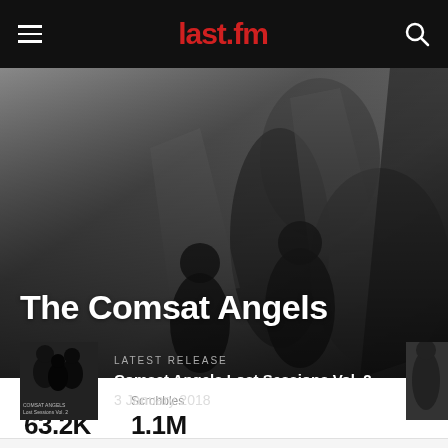last.fm
The Comsat Angels
[Figure (photo): Grayscale hero photo of The Comsat Angels band members in moody black and white style, with dark silhouettes]
LATEST RELEASE
Comsat Angels Lost Sessions Vol. 2
3 January 2018
Listeners
63.2K
Scrobbles
1.1M